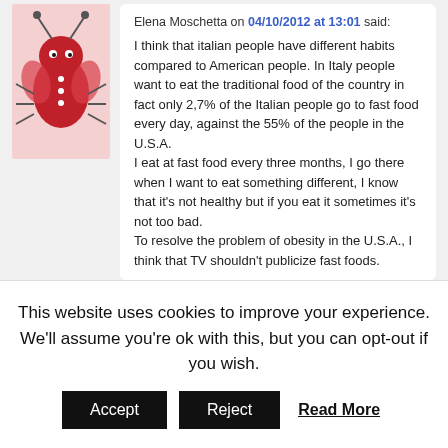[Figure (illustration): Avatar image showing a stylized red bug/insect illustration on a pink background]
Elena Moschetta on 04/10/2012 at 13:01 said:
I think that italian people have different habits compared to American people. In Italy people want to eat the traditional food of the country in fact only 2,7% of the Italian people go to fast food every day, against the 55% of the people in the U.S.A.
I eat at fast food every three months, I go there when I want to eat something different, I know that it's not healthy but if you eat it sometimes it's not too bad.
To resolve the problem of obesity in the U.S.A., I think that TV shouldn't publicize fast foods.
This website uses cookies to improve your experience. We'll assume you're ok with this, but you can opt-out if you wish.